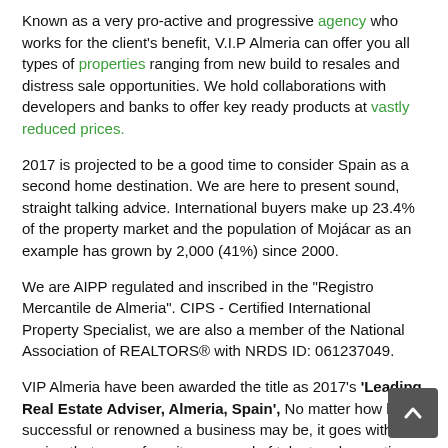Known as a very pro-active and progressive agency who works for the client's benefit, V.I.P Almeria can offer you all types of properties ranging from new build to resales and distress sale opportunities. We hold collaborations with developers and banks to offer key ready products at vastly reduced prices.
2017 is projected to be a good time to consider Spain as a second home destination. We are here to present sound, straight talking advice. International buyers make up 23.4% of the property market and the population of Mojácar as an example has grown by 2,000 (41%) since 2000.
We are AIPP regulated and inscribed in the "Registro Mercantile de Almeria". CIPS - Certified International Property Specialist, we are also a member of the National Association of REALTORS® with NRDS ID: 061237049.
VIP Almeria have been awarded the title as 2017's 'Leading Real Estate Adviser, Almeria, Spain', No matter how big, successful or renowned a business may be, it goes without saying that, away from its own pool of talent and expertise, there will always be a network of trusted advisers behind the scenes helping to inform, guide and shape the way in which it operates. This is in addition to the award, December 2016 when we were given the title, Real Estate Firm of the Year 2016, this award was set up to recognise the firms which are among the best and brightest when it comes to real estate, able to flourish in this dynamic sector.
Nominated Winner of Best Real estate Agency 2015. Seve...